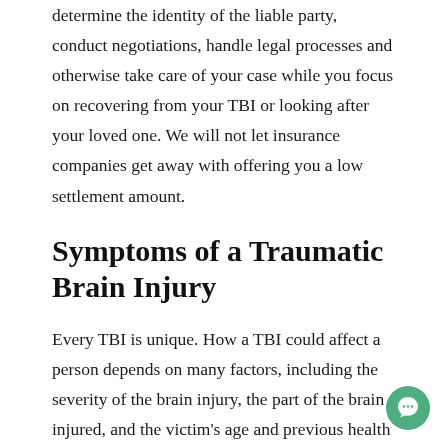determine the identity of the liable party, conduct negotiations, handle legal processes and otherwise take care of your case while you focus on recovering from your TBI or looking after your loved one. We will not let insurance companies get away with offering you a low settlement amount.
Symptoms of a Traumatic Brain Injury
Every TBI is unique. How a TBI could affect a person depends on many factors, including the severity of the brain injury, the part of the brain injured, and the victim's age and previous health status. Many traumatic brain injuries, however, share common symptoms that could give the injury victim or